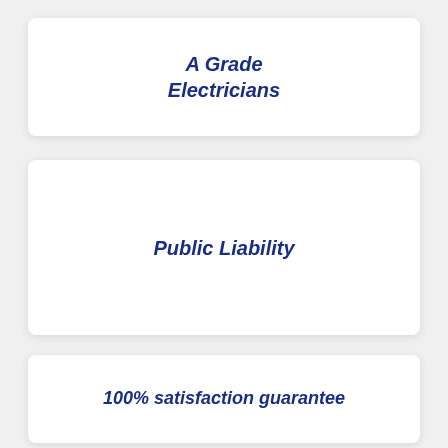A Grade Electricians
Public Liability
100% satisfaction guarantee